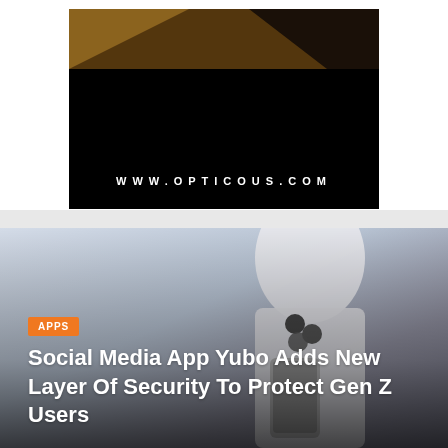[Figure (photo): Dark interior photo with wood floor and WWW.OPTICOUS.COM text displayed in white on black background]
[Figure (photo): Young person in white t-shirt holding smartphone with sunglasses hanging on shirt collar]
APPS
Social Media App Yubo Adds New Layer Of Security To Protect Gen Z Users